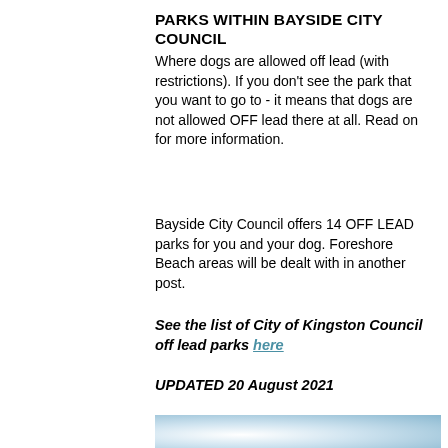PARKS WITHIN BAYSIDE CITY COUNCIL
Where dogs are allowed off lead (with restrictions). If you don't see the park that you want to go to - it means that dogs are not allowed OFF lead there at all. Read on for more information.
Bayside City Council offers 14 OFF LEAD parks for you and your dog. Foreshore Beach areas will be dealt with in another post.
See the list of City of Kingston Council off lead parks here
UPDATED 20 August 2021
[Figure (photo): Partial image of a sky/outdoor scene with blue sky and lighter foreground, cropped at the bottom of the page]